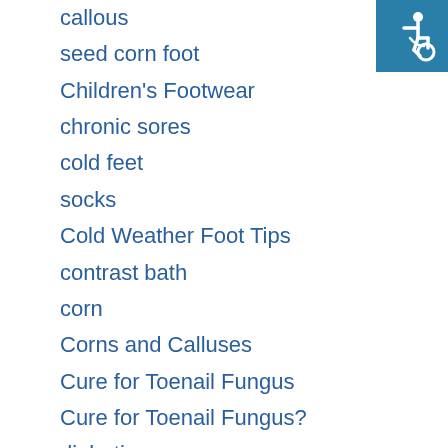callous
seed corn foot
Children's Footwear
chronic sores
cold feet
socks
Cold Weather Foot Tips
contrast bath
corn
Corns and Calluses
Cure for Toenail Fungus
Cure for Toenail Fungus?
diabetic
Diabetic Feet
Diabetic Foot
Diabetic Foot Care
Diabetic Foot Doctor
[Figure (logo): Wheelchair accessibility icon on teal/blue background]